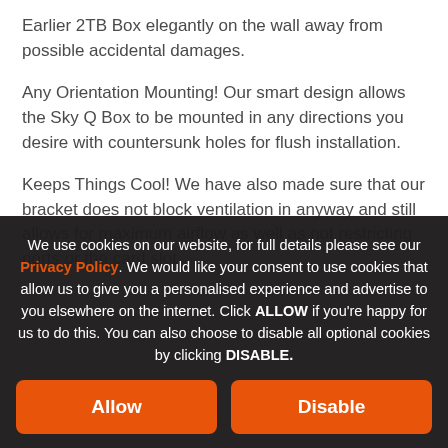Earlier 2TB Box elegantly on the wall away from possible accidental damages.
Any Orientation Mounting! Our smart design allows the Sky Q Box to be mounted in any directions you desire with countersunk holes for flush installation.
Keeps Things Cool! We have also made sure that our bracket does not block ventilation in anyway and still allows for maximum airflow as well as not restricting ports or the card slot.
We use cookies on our website, for full details please see our Privacy Policy. We would like your consent to use cookies that allow us to give you a personalised experience and advertise to you elsewhere on the internet. Click ALLOW if you're happy for us to do this. You can also choose to disable all optional cookies by clicking DISABLE.